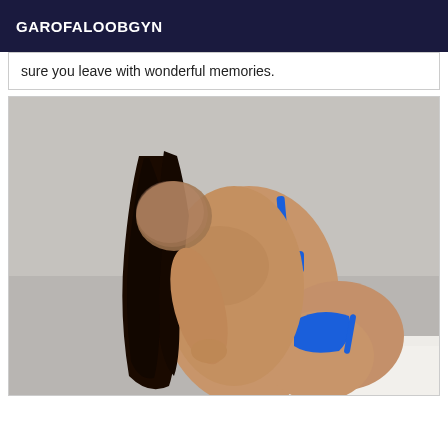GAROFALOOBGYN
sure you leave with wonderful memories.
[Figure (photo): A person with long dark hair wearing a blue bikini, photographed from behind against a light grey wall, posing on a white surface. The face is blurred/obscured.]